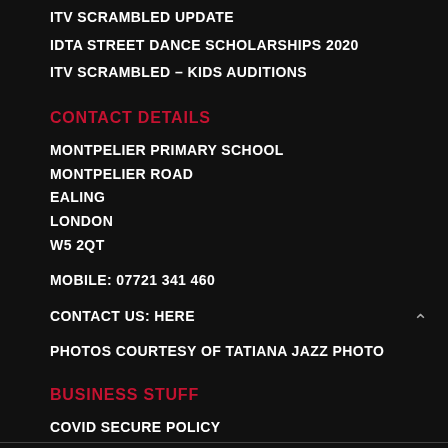ITV SCRAMBLED UPDATE
IDTA STREET DANCE SCHOLARSHIPS 2020
ITV SCRAMBLED – KIDS AUDITIONS
CONTACT DETAILS
MONTPELIER PRIMARY SCHOOL
MONTPELIER ROAD
EALING
LONDON
W5 2QT
MOBILE: 07721 341 460
CONTACT US: HERE
PHOTOS COURTESY OF TATIANA JAZZ PHOTO
BUSINESS STUFF
COVID SECURE POLICY